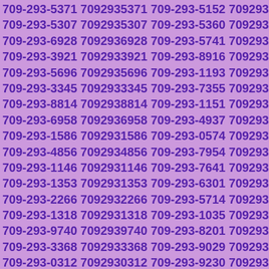709-293-5371 7092935371 709-293-5152 7092935152
709-293-5307 7092935307 709-293-5360 7092935360
709-293-6928 7092936928 709-293-5741 7092935741
709-293-3921 7092933921 709-293-8916 7092938916
709-293-5696 7092935696 709-293-1193 7092931193
709-293-3345 7092933345 709-293-7355 7092937355
709-293-8814 7092938814 709-293-1151 7092931151
709-293-6958 7092936958 709-293-4937 7092934937
709-293-1586 7092931586 709-293-0574 7092930574
709-293-4856 7092934856 709-293-7954 7092937954
709-293-1146 7092931146 709-293-7641 7092937641
709-293-1353 7092931353 709-293-6301 7092936301
709-293-2266 7092932266 709-293-5714 7092935714
709-293-1318 7092931318 709-293-1035 7092931035
709-293-9740 7092939740 709-293-8201 7092938201
709-293-3368 7092933368 709-293-9029 7092939029
709-293-0312 7092930312 709-293-9230 7092939230
709-293-2687 7092932687 709-293-1486 7092931486
709-293-0308 7092930308 709-293-6400 7092936400
709-293-3392 7092933392 709-293-9797 7092939797
709-293-4347 7092934347 709-293-9316 7092939316